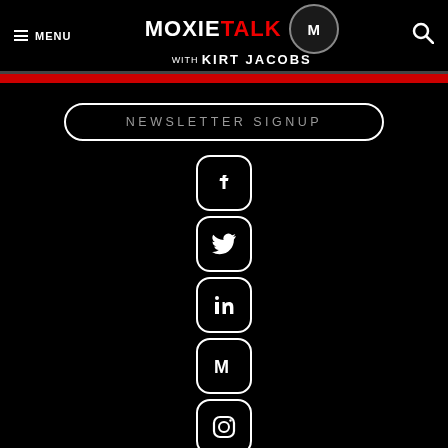≡ MENU  MOXIETALK with KIRT JACOBS  [search]
NEWSLETTER SIGNUP
[Figure (infographic): Vertical stack of social media icon buttons: Facebook, Twitter, LinkedIn, Medium, Instagram, YouTube, IMDb]
Success is not final, failure is not fatal: it is the courage to continue